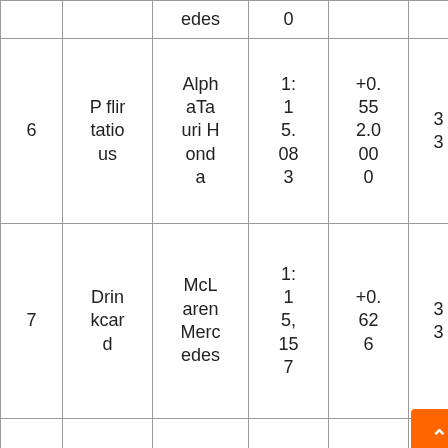| Pos | Driver | Car | Time | Gap | Pts |
| --- | --- | --- | --- | --- | --- |
|  |  | edes | 0 |  |  |
| 6 | P flirtation | AlphaTauri Honda | 1:15.083 | +0.5520.000 | 33 |
| 7 | Drinkcard | McLaren Mercedes | 1:15,157 | +0.626 | 33 |
| 8 | J. Russell | mercedes | 1:1521 1 | +0.680 | 4 |